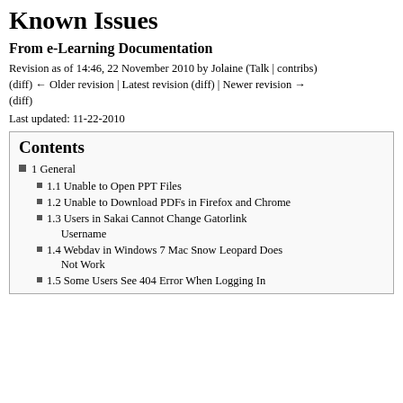Known Issues
From e-Learning Documentation
Revision as of 14:46, 22 November 2010 by Jolaine (Talk | contribs)
(diff) ← Older revision | Latest revision (diff) | Newer revision → (diff)
Last updated: 11-22-2010
Contents
1 General
1.1 Unable to Open PPT Files
1.2 Unable to Download PDFs in Firefox and Chrome
1.3 Users in Sakai Cannot Change Gatorlink Username
1.4 Webdav in Windows 7 Mac Snow Leopard Does Not Work
1.5 Some Users See 404 Error When Logging In